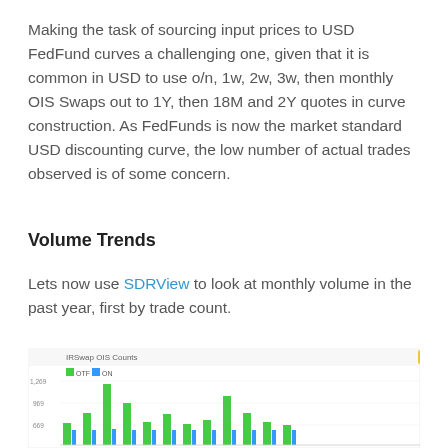Making the task of sourcing input prices to USD FedFund curves a challenging one, given that it is common in USD to use o/n, 1w, 2w, 3w, then monthly OIS Swaps out to 1Y, then 18M and 2Y quotes in curve construction. As FedFunds is now the market standard USD discounting curve, the low number of actual trades observed is of some concern.
Volume Trends
Lets now use SDRView to look at monthly volume in the past year, first by trade count.
[Figure (grouped-bar-chart): Grouped bar chart showing IRSwap OIS Counts with two series (OTF in green, ON in blue) over monthly periods. Bars show varying heights with the highest bar around 1,269.]